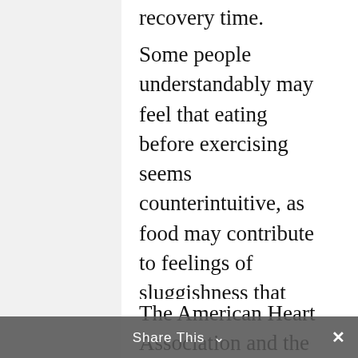recovery time.
Some people understandably may feel that eating before exercising seems counterintuitive, as food may contribute to feelings of sluggishness that would make it hard to maximize a workout. But what people eat, and drink, prior to working out is important, as the right foods can make a positive impact while the wrong foods can have the opposite effect.
The American Heart Association and the ACSM recommend hydrating with water prior to
Share This ∨